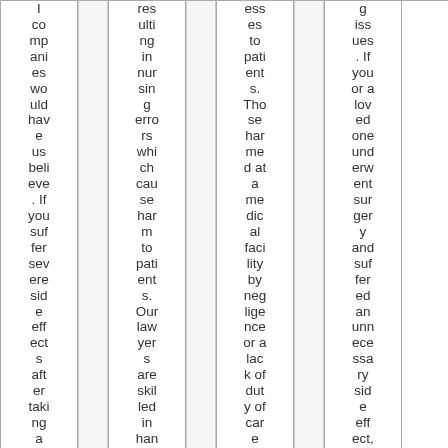I companies would have us believe. If you suffer severe side effects after taking a pro
resulting in nursing errors which cause harm to patients. Our lawyers are skilled in handlin
esses to patients. Those harmed at a medical facility by negligence or a lack of duty of care des
g issues. If you or a loved one underwent surgery and suffered an unnecessary side effect, inju